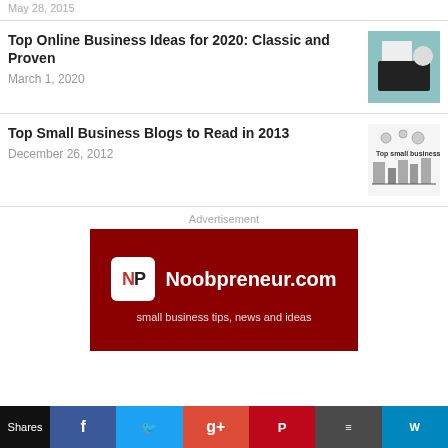May 28, 2015
Top Online Business Ideas for 2020: Classic and Proven
March 1, 2020
Top Small Business Blogs to Read in 2013
December 26, 2012
Advertisement
[Figure (logo): Noobpreneur.com advertisement banner with NP logo and tagline: small business tips, news and ideas]
Shares | Facebook | Twitter | G+ | Pinterest | Buffer | Wordpress